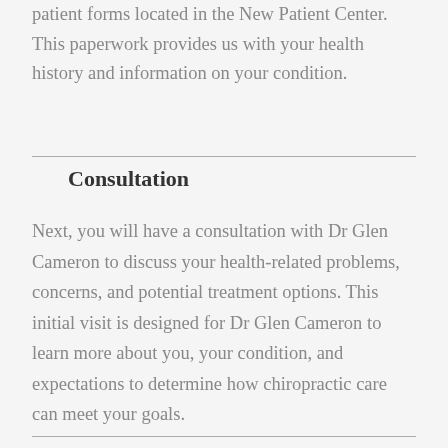patient forms located in the New Patient Center. This paperwork provides us with your health history and information on your condition.
Consultation
Next, you will have a consultation with Dr Glen Cameron to discuss your health-related problems, concerns, and potential treatment options. This initial visit is designed for Dr Glen Cameron to learn more about you, your condition, and expectations to determine how chiropractic care can meet your goals.